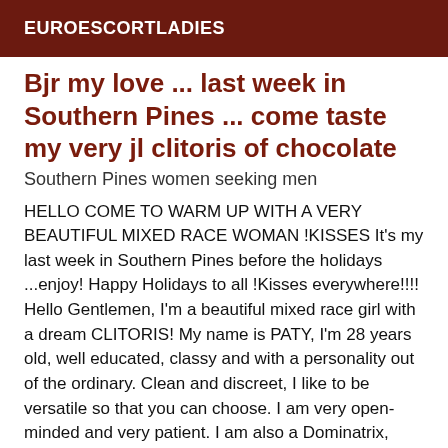EUROESCORTLADIES
Bjr my love ... last week in Southern Pines ... come taste my very jl clitoris of chocolate
Southern Pines women seeking men
HELLO COME TO WARM UP WITH A VERY BEAUTIFUL MIXED RACE WOMAN !KISSES It's my last week in Southern Pines before the holidays ...enjoy! Happy Holidays to all !Kisses everywhere!!!! Hello Gentlemen, I'm a beautiful mixed race girl with a dream CLITORIS! My name is PATY, I'm 28 years old, well educated, classy and with a personality out of the ordinary. Clean and discreet, I like to be versatile so that you can choose. I am very open-minded and very patient. I am also a Dominatrix, beginners are welcome! Massage technique: tantric and naturist with essential oils. Practical !!! Girlfriend experience, Full service, Massage, Domination, Femdom, Fist (giving), Gilded